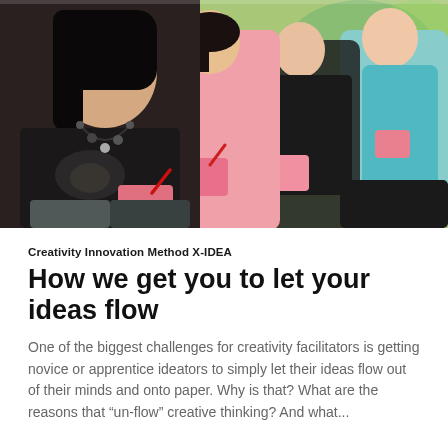[Figure (photo): Group of young women sitting in a row outdoors, each looking down and writing or drawing in small notebooks/sketchbooks. The woman in the foreground wears a black t-shirt with graphic print and a bead necklace. Others behind her wear pink and blue tops.]
Creativity Innovation Method X-IDEA
How we get you to let your ideas flow
One of the biggest challenges for creativity facilitators is getting novice or apprentice ideators to simply let their ideas flow out of their minds and onto paper. Why is that? What are the reasons that “un-flow” creative thinking? And what...